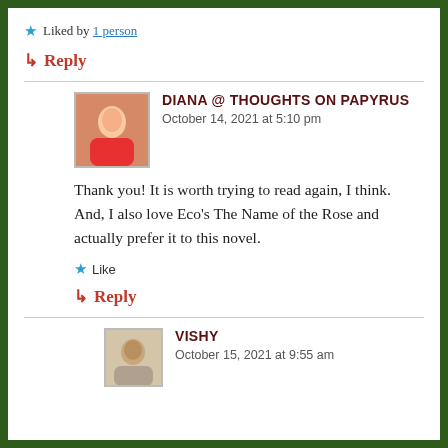★ Liked by 1 person
↳ Reply
DIANA @ THOUGHTS ON PAPYRUS
October 14, 2021 at 5:10 pm
Thank you! It is worth trying to read again, I think. And, I also love Eco's The Name of the Rose and actually prefer it to this novel.
★ Like
↳ Reply
VISHY
October 15, 2021 at 9:55 am